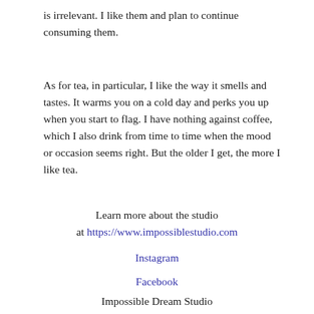is irrelevant. I like them and plan to continue consuming them.
As for tea, in particular, I like the way it smells and tastes. It warms you on a cold day and perks you up when you start to flag. I have nothing against coffee, which I also drink from time to time when the mood or occasion seems right. But the older I get, the more I like tea.
Learn more about the studio at https://www.impossiblestudio.com
Instagram
Facebook
Impossible Dream Studio
105 N. Patterson Ave
Florence, Texas 76527